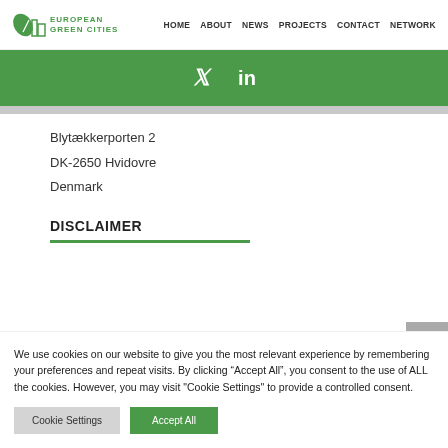European Green Cities | HOME ABOUT NEWS PROJECTS CONTACT NETWORK
[Figure (infographic): Green social media bar with Twitter and LinkedIn icons]
Blytækkerporten 2
DK-2650 Hvidovre
Denmark
DISCLAIMER
We use cookies on our website to give you the most relevant experience by remembering your preferences and repeat visits. By clicking “Accept All”, you consent to the use of ALL the cookies. However, you may visit "Cookie Settings" to provide a controlled consent.